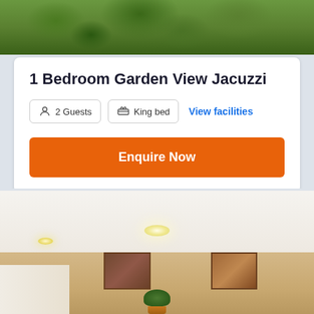[Figure (photo): Outdoor garden/tree area photo at top of page, showing green tree canopy]
1 Bedroom Garden View Jacuzzi
2 Guests | King bed | View facilities
Enquire Now
[Figure (photo): Interior room photo showing a bright room with cream walls, ceiling light, paintings on the wall, and a plant]